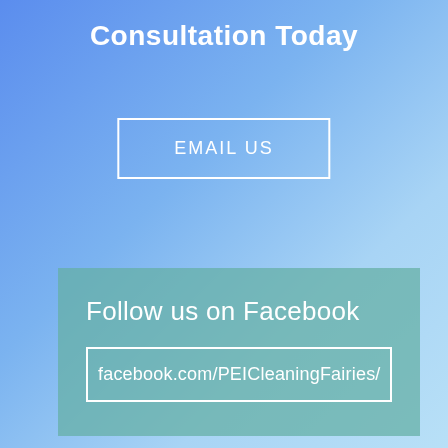Consultation Today
EMAIL US
Follow us on Facebook
facebook.com/PEICleaningFairies/